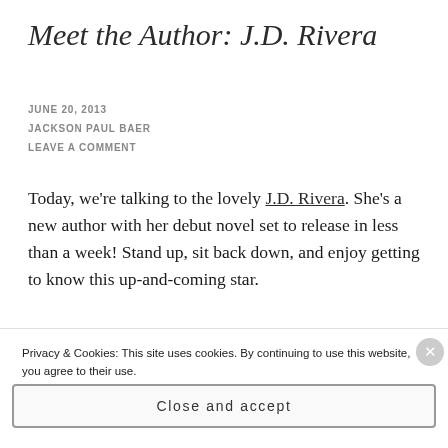Meet the Author: J.D. Rivera
JUNE 20, 2013
JACKSON PAUL BAER
LEAVE A COMMENT
Today, we're talking to the lovely J.D. Rivera. She's a new author with her debut novel set to release in less than a week! Stand up, sit back down, and enjoy getting to know this up-and-coming star.
[Figure (photo): Partial image strip visible at bottom of page, showing a dark purple to orange gradient book cover or banner image.]
Privacy & Cookies: This site uses cookies. By continuing to use this website, you agree to their use.
To find out more, including how to control cookies, see here: Cookie Policy
Close and accept